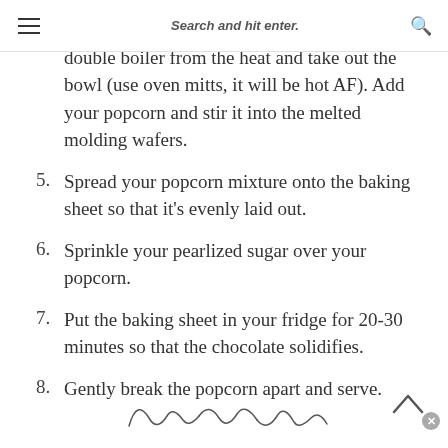Search and hit enter.
4. Once the chocolate has melted, remove the double boiler from the heat and take out the bowl (use oven mitts, it will be hot AF). Add your popcorn and stir it into the melted molding wafers.
5. Spread your popcorn mixture onto the baking sheet so that it's evenly laid out.
6. Sprinkle your pearlized sugar over your popcorn.
7. Put the baking sheet in your fridge for 20-30 minutes so that the chocolate solidifies.
8. Gently break the popcorn apart and serve.
[Figure (illustration): Cursive signature or logo text at the bottom of the page]